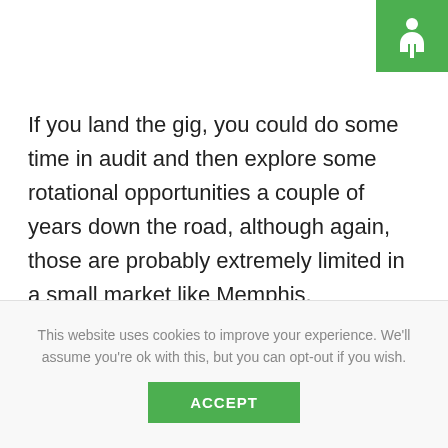[Figure (logo): Green square logo with a white stylized figure/person icon]
If you land the gig, you could do some time in audit and then explore some rotational opportunities a couple of years down the road, although again, those are probably extremely limited in a small market like Memphis.
On the other hand, if you are truly interested in working in a tax practice, it might easier to go with a regional or local firm to get the work experience you want. Since it sounds like
This website uses cookies to improve your experience. We'll assume you're ok with this, but you can opt-out if you wish.
ACCEPT